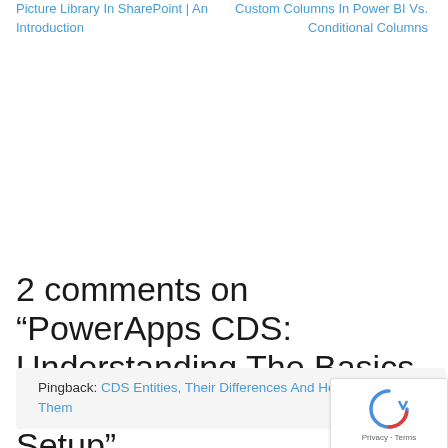Picture Library In SharePoint | An Introduction
Custom Columns In Power BI Vs. Conditional Columns
2 comments on “PowerApps CDS: Understanding The Basics And The Environment Setup”
Pingback: CDS Entities, Their Differences And How To Create Them